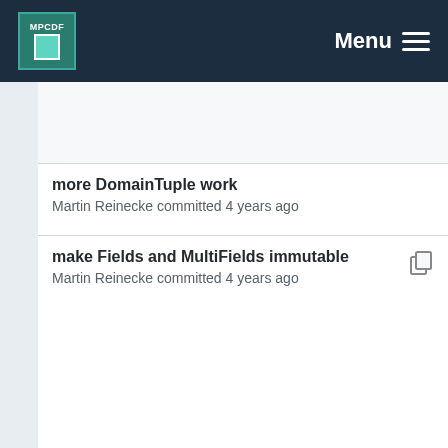MPCDF Menu
more DomainTuple work
Martin Reinecke committed 4 years ago
make Fields and MultiFields immutable
Martin Reinecke committed 4 years ago
more DomainTuple work
Martin Reinecke committed 4 years ago
renamings
Martin Reinecke committed 4 years ago